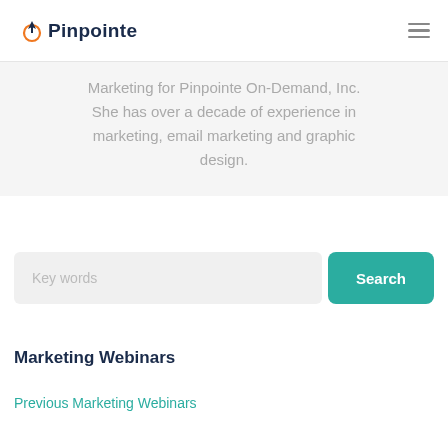Pinpointe
Marketing for Pinpointe On-Demand, Inc. She has over a decade of experience in marketing, email marketing and graphic design.
[Figure (other): Search input field with placeholder 'Key words' and a teal 'Search' button]
Marketing Webinars
Previous Marketing Webinars